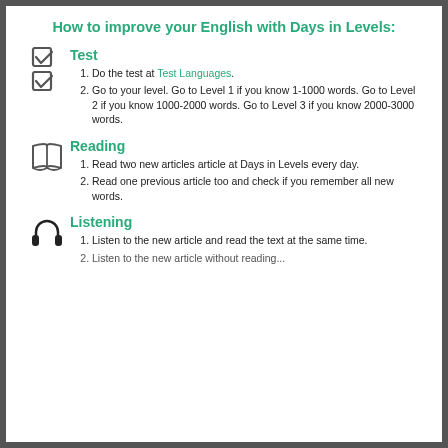How to improve your English with Days in Levels:
Test
Do the test at Test Languages.
Go to your level. Go to Level 1 if you know 1-1000 words. Go to Level 2 if you know 1000-2000 words. Go to Level 3 if you know 2000-3000 words.
Reading
Read two new articles article at Days in Levels every day.
Read one previous article too and check if you remember all new words.
Listening
Listen to the new article and read the text at the same time.
Listen to the new article without reading.